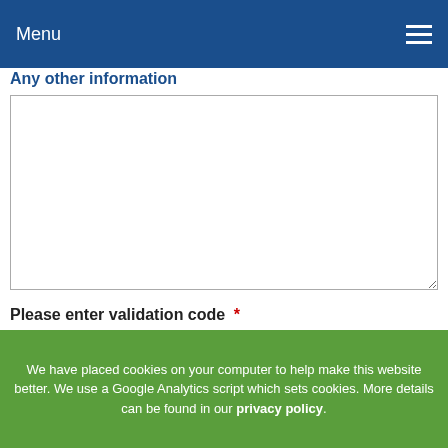Menu
Any other information
[textarea field]
Please enter validation code *
A7DD2 [captcha]
Data Protection Notice 1998
I Agree *
In considering your application we will search your record at a credit reference agency. They will add to your record details of our search and your application and this will be seen by other organisations carrying out later searches. It is important that you give us accurate information. We will check your details with fraud prevention agencies and if you give us false or
We have placed cookies on your computer to help make this website better. We use a Google Analytics script which sets cookies. More details can be found in our privacy policy.